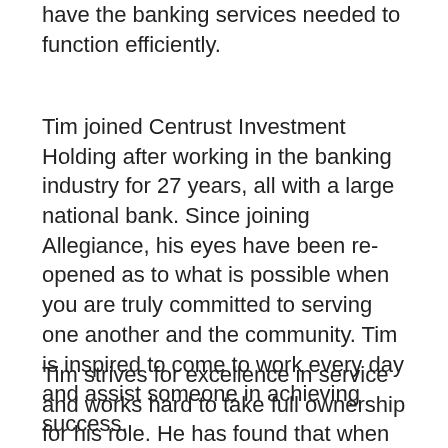have the banking services needed to function efficiently.
Tim joined Centrust Investment Holding after working in the banking industry for 27 years, all with a large national bank. Since joining Allegiance, his eyes have been re-opened as to what is possible when you are truly committed to serving one another and the community. Tim is inspired to come to work every day and assist someone in achieving success.
Tim strives for excellence in service and works hard to take full ownership for his role. He has found that when faced with an obstacle in government banking, taking ownership is the most important thing to do. Tim works to research and communicate until